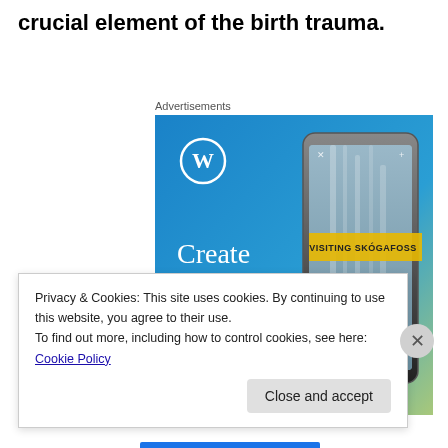crucial element of the birth trauma.
Advertisements
[Figure (illustration): WordPress advertisement banner showing 'Create immersive stories.' text with a smartphone displaying a waterfall scene labeled 'VISITING SKOGAFOSS', blue-to-green gradient background with WordPress logo]
Privacy & Cookies: This site uses cookies. By continuing to use this website, you agree to their use.
To find out more, including how to control cookies, see here: Cookie Policy